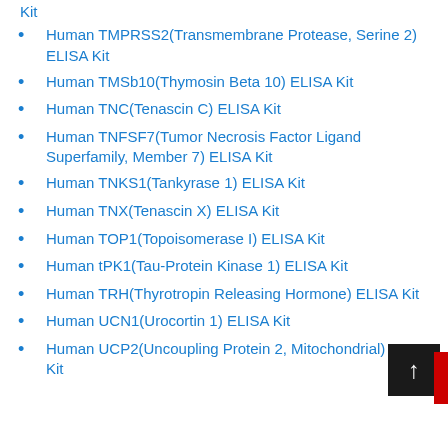Kit
Human TMPRSS2(Transmembrane Protease, Serine 2) ELISA Kit
Human TMSb10(Thymosin Beta 10) ELISA Kit
Human TNC(Tenascin C) ELISA Kit
Human TNFSF7(Tumor Necrosis Factor Ligand Superfamily, Member 7) ELISA Kit
Human TNKS1(Tankyrase 1) ELISA Kit
Human TNX(Tenascin X) ELISA Kit
Human TOP1(Topoisomerase I) ELISA Kit
Human tPK1(Tau-Protein Kinase 1) ELISA Kit
Human TRH(Thyrotropin Releasing Hormone) ELISA Kit
Human UCN1(Urocortin 1) ELISA Kit
Human UCP2(Uncoupling Protein 2, Mitochondrial) ELISA Kit